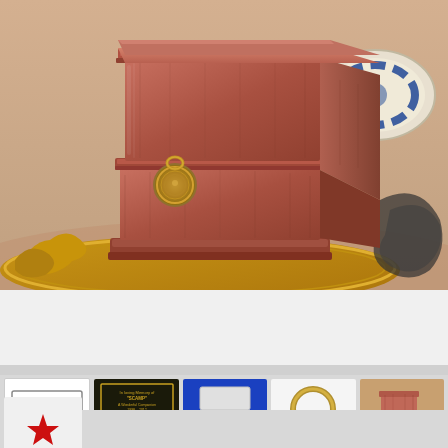[Figure (photo): Main product photo of a wooden memorial urn (reddish-brown/mahogany wood) with a circular brass medallion on the front, sitting on a decorative gold ornate tray. Blue and white ceramic dish visible in the background upper right.]
[Figure (photo): Thumbnail 1: White background with text reading 'Free Engraving' in purple/black font with a border]
[Figure (photo): Thumbnail 2: Dark background memorial plaque with gold text 'In loving Memory of SCAMP A Wonderful Companion 1998-2012' and below 'Planted in Memory of Our Mother Mary Edith Presley Some But Not Forgotten 1922-2012' with red border 'Memorial Plaques']
[Figure (photo): Thumbnail 3: Blue background with two color swatches - silver/white on top and gold/copper on bottom]
[Figure (photo): Thumbnail 4: Gold/brass circular ring medallion hardware piece on white background]
[Figure (photo): Thumbnail 5: Side view of the wooden urn showing reddish-brown wood grain finish with decorative items in background]
[Figure (photo): Thumbnail 6 (partial): Red star/badge shape partially visible at bottom left]